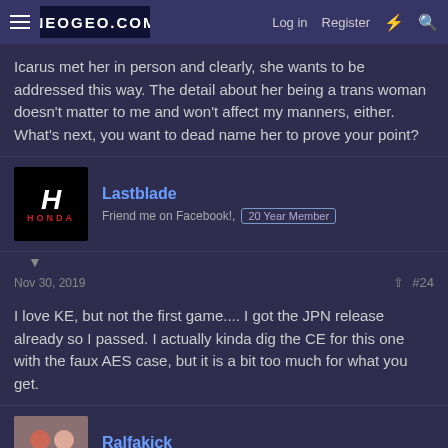NEOGEO.COM | Log in | Register
Icarus met her in person and clearly, she wants to be addressed this way. The detail about her being a trans woman doesn't matter to me and won't affect my manners, either. What's next, you want to dead name her to prove your point?
Lastblade
Friend me on Facebook!. 20 Year Member
Nov 30, 2019 #24
I love KE, but not the first game.... I got the JPN release already so I passed. I actually kinda dig the CE for this one with the faux AES case, but it is a bit too much for what you get.
Ralfakick
J. Max's Chauffeur. 20 Year Member
Nov 30, 2019 #25